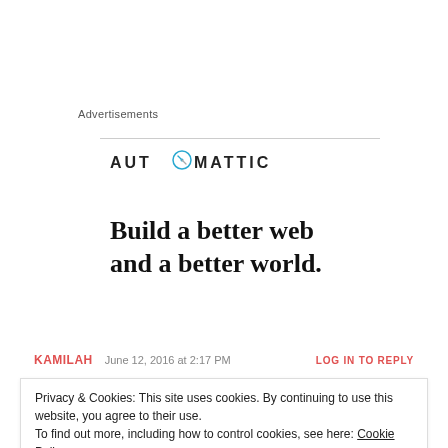Advertisements
[Figure (logo): Automattic logo with compass icon replacing the letter O]
Build a better web and a better world.
KAMILAH   June 12, 2016 at 2:17 PM   LOG IN TO REPLY
Privacy & Cookies: This site uses cookies. By continuing to use this website, you agree to their use.
To find out more, including how to control cookies, see here: Cookie Policy
Close and accept